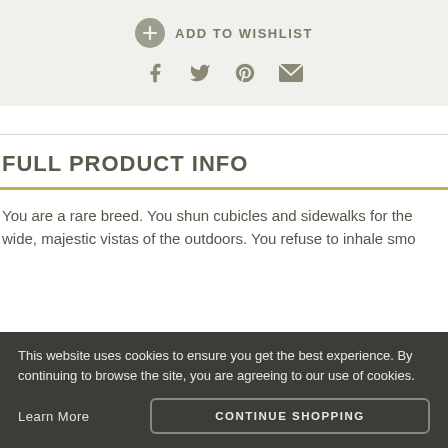ADD TO WISHLIST
[Figure (illustration): Social media share icons: Facebook, Twitter, Pinterest, Email in olive/grey color]
FULL PRODUCT INFO
You are a rare breed. You shun cubicles and sidewalks for the wide, majestic vistas of the outdoors. You refuse to inhale smog when you can breathe the same clean, clear air the whitetail, coyote, and bison breathe. You are a traditional hunter. And the case by Allen® was made for you.
This website uses cookies to ensure you get the best experience. By continuing to browse the site, you are agreeing to our use of cookies.
Learn More
CONTINUE SHOPPING